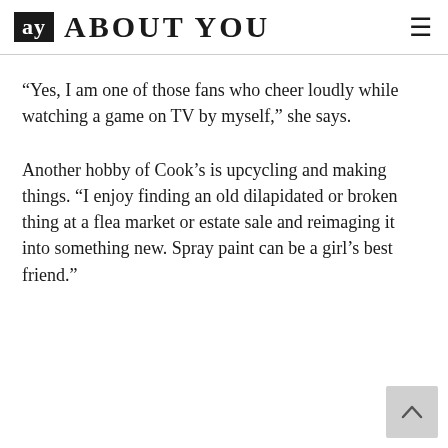ay ABOUT YOU
“Yes, I am one of those fans who cheer loudly while watching a game on TV by myself,” she says.
Another hobby of Cook’s is upcycling and making things. “I enjoy finding an old dilapidated or broken thing at a flea market or estate sale and reimaging it into something new. Spray paint can be a girl’s best friend.”